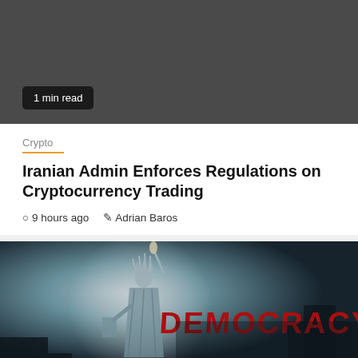1 min read
Crypto
Iranian Admin Enforces Regulations on Cryptocurrency Trading
9 hours ago   Adrian Baros
[Figure (photo): Image showing large red text reading 'DEMOCRACY NOW!' with a silhouette of the Statue of Liberty in the background, styled like a dramatic movie poster or protest graphic.]